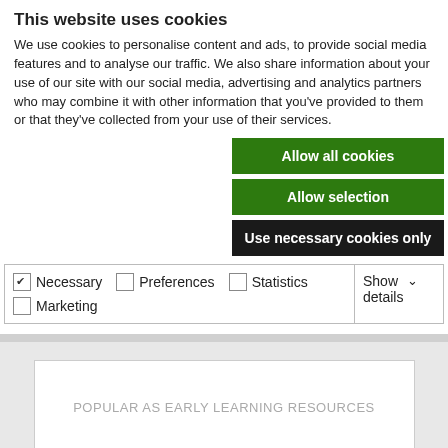This website uses cookies
We use cookies to personalise content and ads, to provide social media features and to analyse our traffic. We also share information about your use of our site with our social media, advertising and analytics partners who may combine it with other information that you've provided to them or that they've collected from your use of their services.
Allow all cookies
Allow selection
Use necessary cookies only
| ✔ Necessary | ☐ Preferences | ☐ Statistics | Show details ∨ |
| ☐ Marketing |  |  |  |
POPULAR AS EARLY LEARNING RESOURCES
WE ARE DELIGHTED TO FULFIL BESPOKE OR LARGE ORDERS. JUST ASK!